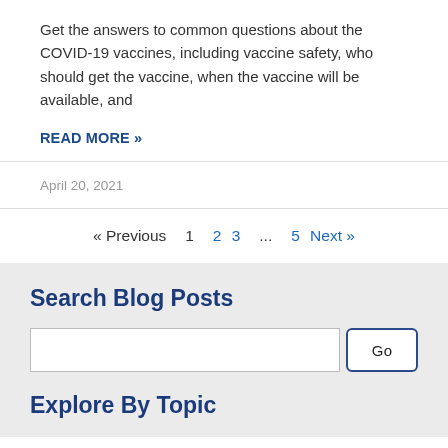Get the answers to common questions about the COVID-19 vaccines, including vaccine safety, who should get the vaccine, when the vaccine will be available, and
READ MORE »
April 20, 2021
« Previous  1  2  3  ...  5  Next »
Search Blog Posts
Explore By Topic